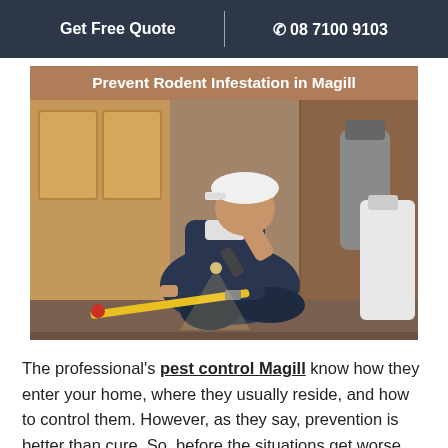Get Free Quote | 08 7100 9103
Prevent Rodent Infestation in Magill
[Figure (photo): Pest control professional in white cap and dark overalls crouching on floor, shining flashlight under wooden cabinet with spray equipment nearby, brick wall in background.]
The professional's pest control Magill know how they enter your home, where they usually reside, and how to control them. However, as they say, prevention is better than cure. So, before the situations get worse and go out